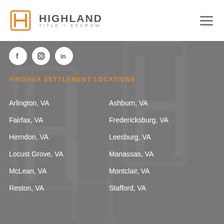HIGHLAND TITLE + ESCROW
[Figure (logo): Highland Title + Escrow logo with orange geometric H icon and gray text]
[Figure (infographic): Social media icons for Facebook, Instagram, LinkedIn in white circles on gray background]
VIRGINIA SETTLEMENT LOCATIONS
Arlington, VA
Ashburn, VA
Fairfax, VA
Fredericksburg, VA
Herndon, VA
Leesburg, VA
Locust Grove, VA
Manassas, VA
McLean, VA
Montclair, VA
Reston, VA
Stafford, VA